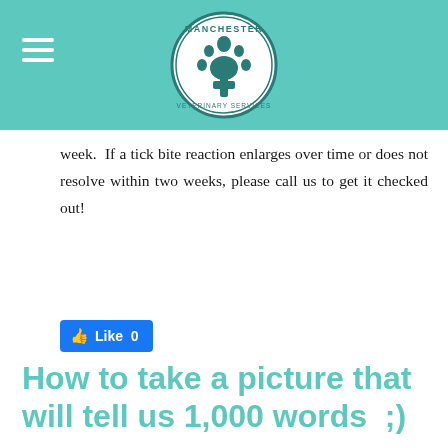[Figure (logo): Manchester Veterinary Services circular logo with paw print and cross]
week.  If a tick bite reaction enlarges over time or does not resolve within two weeks, please call us to get it checked out!
[Figure (screenshot): Facebook Like button showing 0 likes]
How to take a picture that will tell us 1,000 words  ;)
5/7/2020
2 Comments
COVID-19 has turned a lot of us into internet and